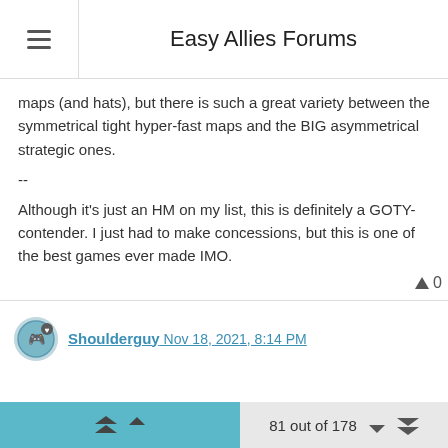Easy Allies Forums
maps (and hats), but there is such a great variety between the symmetrical tight hyper-fast maps and the BIG asymmetrical strategic ones.
--
Although it's just an HM on my list, this is definitely a GOTY-contender. I just had to make concessions, but this is one of the best games ever made IMO.
▲ 0
Shoulderguy  Nov 18, 2021, 8:14 PM
#9: Ratchet & Clank Future: Tools of Destruction - 17 points
81 out of 178